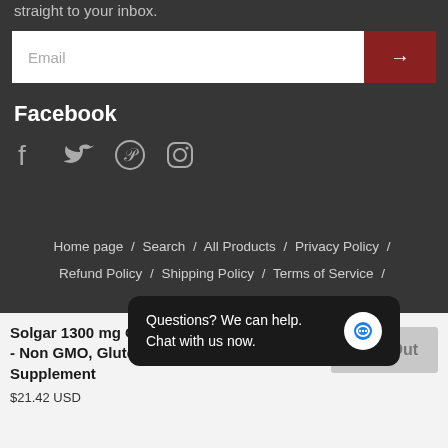straight to your inbox.
[Figure (screenshot): Email input field with red submit arrow button]
Facebook
[Figure (infographic): Social media icons: Facebook, Twitter, Pinterest, Instagram]
Home page / Search / All Products / Privacy Policy / Refund Policy / Shipping Policy / Terms of Service / Locate/Contact Us
[Figure (infographic): Payment method badges row]
Solgar 1300 mg O... - Non GMO, Glute... Supplement $21.42 USD
[Figure (screenshot): Chat bubble overlay: Questions? We can help. Chat with us now.]
Sold Out